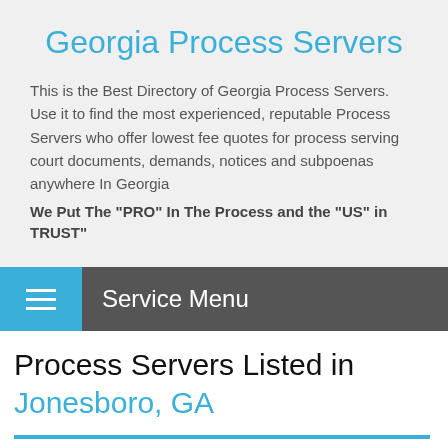Georgia Process Servers
This is the Best Directory of Georgia Process Servers. Use it to find the most experienced, reputable Process Servers who offer lowest fee quotes for process serving court documents, demands, notices and subpoenas anywhere In Georgia
We Put The "PRO" In The Process and the "US" in TRUST"
Service Menu
Process Servers Listed in Jonesboro, GA